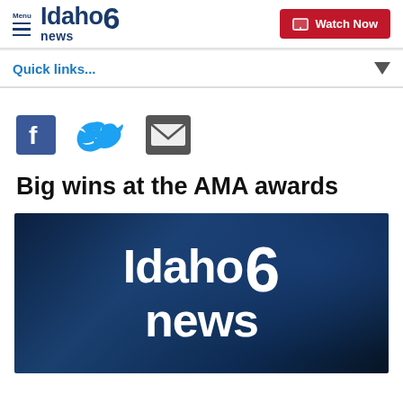Menu | Idaho news 6 | Watch Now
Quick links...
[Figure (illustration): Social media share icons: Facebook (blue square with f), Twitter (blue bird), Email (dark envelope)]
Big wins at the AMA awards
[Figure (photo): Idaho News 6 logo on a dark blue background with camera equipment visible. White text shows 'Idaho 6 news' branding.]